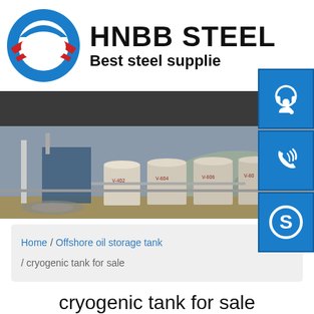[Figure (logo): HNBB Steel company logo with circular O symbol in blue and red and company name]
[Figure (photo): Industrial facility with large white storage tanks labeled V-402, V-604, V-606, V-60x and industrial equipment/pipes at an oil/gas facility]
Home / Offshore oil storage tank / cryogenic tank for sale
cryogenic tank for sale